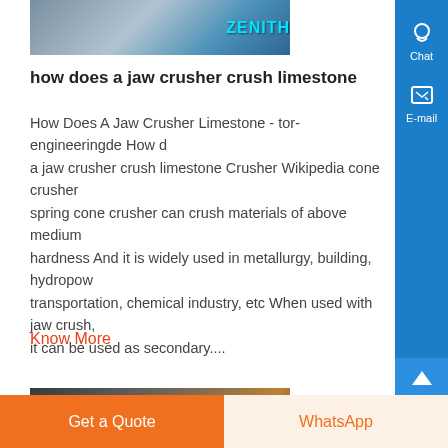[Figure (photo): Partial image of jaw crusher equipment with ZENITH branding text in blue]
how does a jaw crusher crush limestone
How Does A Jaw Crusher Limestone - tor-engineeringde How does a jaw crusher crush limestone Crusher Wikipedia cone crusher spring cone crusher can crush materials of above medium hardness And it is widely used in metallurgy, building, hydropower, transportation, chemical industry, etc When used with jaw crusher, it can be used as secondary....
Know More
[Figure (photo): Partial image of industrial mining or crushing machinery from above]